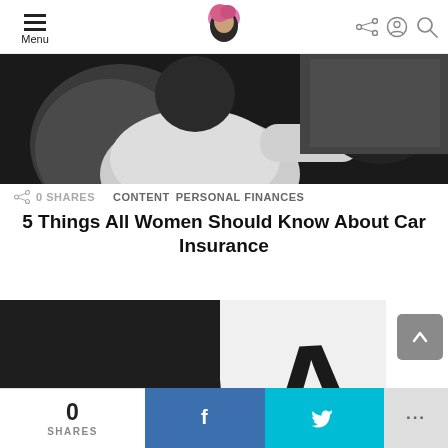Menu | [Logo] | [Share] [Account] [Search]
[Figure (photo): Person in a white sweater driving a car, dark interior, hand on steering wheel, shot from passenger side]
0 SHARES   CONTENT   PERSONAL FINANCES
5 Things All Women Should Know About Car Insurance
[Figure (photo): Close-up of a large letter A on a white card/book against a dark black textured background]
0 SHARES  [Facebook]  [Twitter]  ...